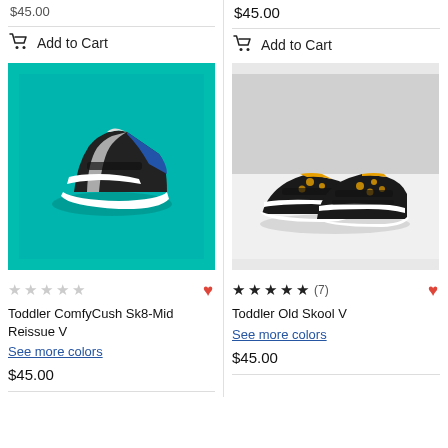$45.00
Add to Cart
$45.00
Add to Cart
[Figure (photo): Toddler Vans ComfyCush Sk8-Mid Reissue V shoe on teal background]
[Figure (photo): Toddler Vans Old Skool V leopard print shoes on grey background]
Toddler ComfyCush Sk8-Mid Reissue V
See more colors
$45.00
★★★★★ (7)
Toddler Old Skool V
See more colors
$45.00